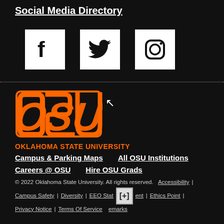Social Media Directory
[Figure (logo): Three social media icons: Facebook (f), Twitter (bird), Instagram (camera) each in a white square box on dark background]
[Figure (logo): OSU Oklahoma State University orange interlocking letters logo with cursor icon]
OKLAHOMA STATE UNIVERSITY
Campus & Parking Maps
All OSU Institutions
Careers @ OSU
Hire OSU Grads
© 2022 Oklahoma State University. All rights reserved.  Accessibility  |  Campus Safety  |  Diversity  |  EEO Statement  |  Ethics Point  |  Privacy Notice  |  Terms Of Service  |  Trademarks